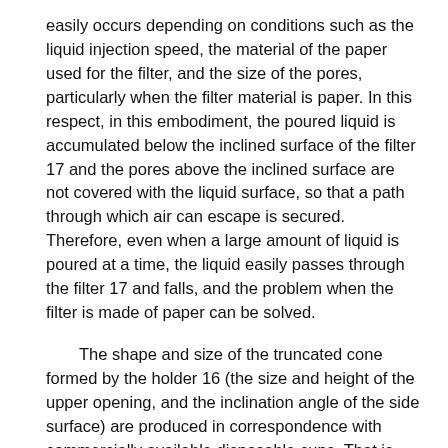easily occurs depending on conditions such as the liquid injection speed, the material of the paper used for the filter, and the size of the pores, particularly when the filter material is paper. In this respect, in this embodiment, the poured liquid is accumulated below the inclined surface of the filter 17 and the pores above the inclined surface are not covered with the liquid surface, so that a path through which air can escape is secured. Therefore, even when a large amount of liquid is poured at a time, the liquid easily passes through the filter 17 and falls, and the problem when the filter is made of paper can be solved.
The shape and size of the truncated cone formed by the holder 16 (the size and height of the upper opening, and the inclination angle of the side surface) are produced in correspondence with commercially available disposable cups. That is, when the present filter 14 is mounted on the inner surface of the cup, the lower end of the filter 14 fits in the middle level of the commercially available disposable cup, and the upper end of the filter 14 is fixed at a position lower than the upper surface of the cup. Shape. Specifically, the maximum diameter of the opening of the filter 14 according to the present embodiment is slightly